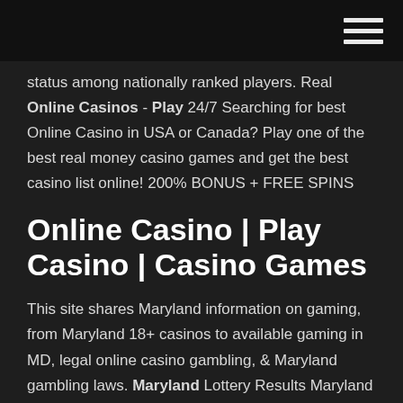[hamburger menu icon]
status among nationally ranked players. Real Online Casinos - Play 24/7 Searching for best Online Casino in USA or Canada? Play one of the best real money casino games and get the best casino list online! 200% BONUS + FREE SPINS
Online Casino | Play Casino | Casino Games
This site shares Maryland information on gaming, from Maryland 18+ casinos to available gaming in MD, legal online casino gambling, & Maryland gambling laws. Maryland Lottery Results Maryland lotto information and current winning lotto results plus we have Maryland lottery numbers archive, lotto number picker and much more - we